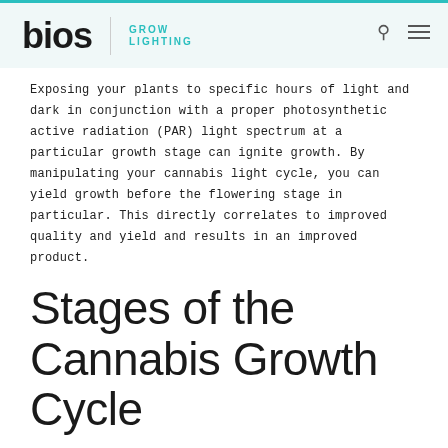bios | GROW LIGHTING
Exposing your plants to specific hours of light and dark in conjunction with a proper photosynthetic active radiation (PAR) light spectrum at a particular growth stage can ignite growth. By manipulating your cannabis light cycle, you can yield growth before the flowering stage in particular. This directly correlates to improved quality and yield and results in an improved product.
Stages of the Cannabis Growth Cycle
The cannabis growth cycle is categorized into 4 distinct stages: germination, seedling, vegetative, and flowering. It is important to understand the indoor cannabis light cycle, so you can choose the correct grow light and spectrum for each